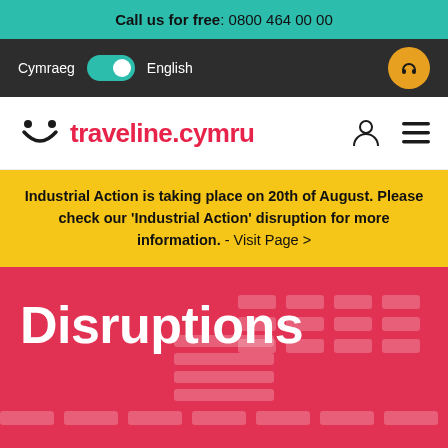Call us for free: 0800 464 00 00
Cymraeg  English
traveline.cymru
Industrial Action is taking place on 20th of August. Please check our ‘Industrial Action’ disruption for more information. - Visit Page >
Disruptions